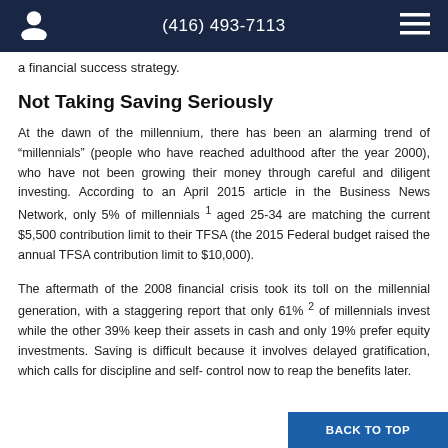(416) 493-7113
a financial success strategy.
Not Taking Saving Seriously
At the dawn of the millennium, there has been an alarming trend of “millennials” (people who have reached adulthood after the year 2000), who have not been growing their money through careful and diligent investing. According to an April 2015 article in the Business News Network, only 5% of millennials 1 aged 25-34 are matching the current $5,500 contribution limit to their TFSA (the 2015 Federal budget raised the annual TFSA contribution limit to $10,000).
The aftermath of the 2008 financial crisis took its toll on the millennial generation, with a staggering report that only 61% 2 of millennials invest while the other 39% keep their assets in cash and only 19% prefer equity investments. Saving is difficult because it involves delayed gratification, which calls for discipline and self-control now to reap the benefits later.